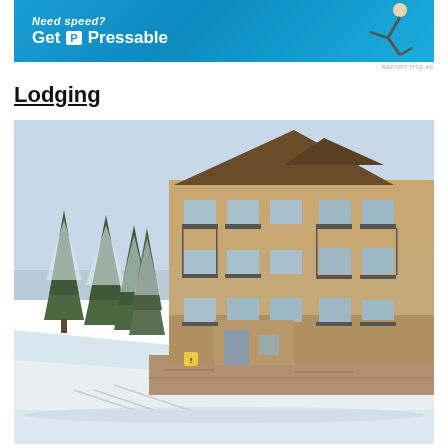[Figure (other): Advertisement banner for Pressable hosting service with blue background and person jumping]
REPORT THIS AD
Lodging
[Figure (photo): Exterior photo of a multi-story ski lodge/hotel building with balconies and stone facade, surrounded by snow-covered pine trees and a groomed ski slope in the foreground]